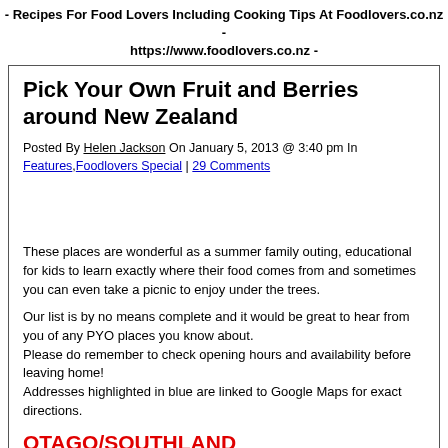- Recipes For Food Lovers Including Cooking Tips At Foodlovers.co.nz - https://www.foodlovers.co.nz -
Pick Your Own Fruit and Berries around New Zealand
Posted By Helen Jackson On January 5, 2013 @ 3:40 pm In Features,Foodlovers Special | 29 Comments
These places are wonderful as a summer family outing, educational for kids to learn exactly where their food comes from and sometimes you can even take a picnic to enjoy under the trees.
Our list is by no means complete and it would be great to hear from you of any PYO places you know about.
Please do remember to check opening hours and availability before leaving home!
Addresses highlighted in blue are linked to Google Maps for exact directions.
OTAGO/SOUTHLAND
Cheeki Cherries PYO cherries